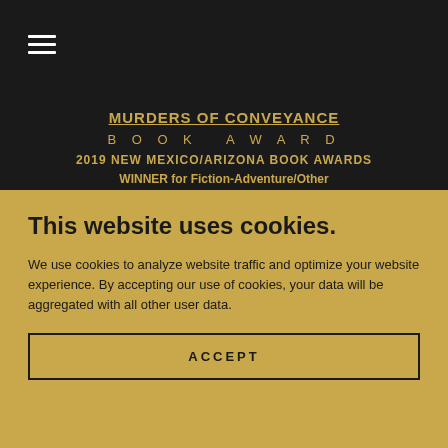☰
MURDERS OF CONVEYANCE
BOOK AWARD
2019 NEW MEXICO/ARIZONA BOOK AWARDS
WINNER for Fiction-Adventure/Other
This website uses cookies.
We use cookies to analyze website traffic and optimize your website experience. By accepting our use of cookies, your data will be aggregated with all other user data.
ACCEPT